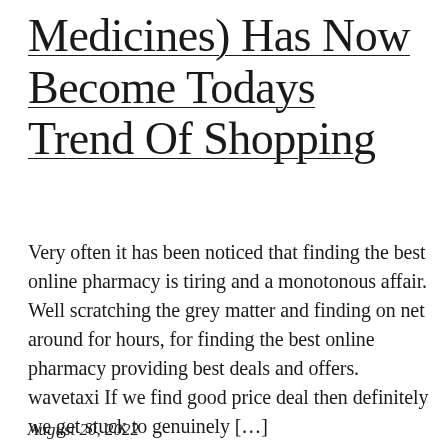Medicines) Has Now Become Todays Trend Of Shopping
Very often it has been noticed that finding the best online pharmacy is tiring and a monotonous affair. Well scratching the grey matter and finding on net around for hours, for finding the best online pharmacy providing best deals and offers. wavetaxi If we find good price deal then definitely we get stuck to genuinely […]
August 20, 2022